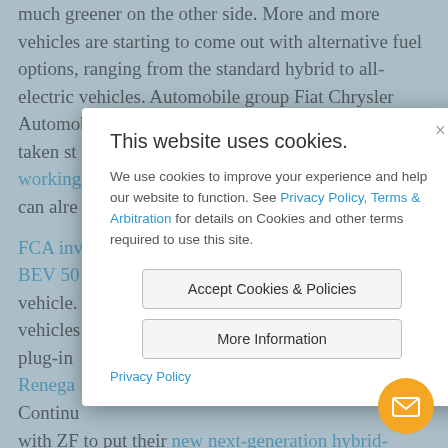much greener on the other side. More and more vehicles are starting to come out with alternative fuel options, ranging from the standard hybrid to all-electric vehicles. Automobile group Fiat Chrysler Automobiles has been shy to g... as taken st... working... d we can alre... FCA inv... e new BEV 50... electric vehicle... electric vehicles... the plug-in... Jeep Renega... r Show, Continu... with ZF to put their new next-generation hybrid-ready
[Figure (screenshot): Cookie consent modal dialog overlaying a webpage. Title: 'This website uses cookies.' Body text explains cookies usage and references Privacy Policy, Terms & Arbitration links. Two buttons: 'Accept Cookies & Policies' and 'More Information'. Footer link: 'Privacy Policy'. Close (×) button top-right.]